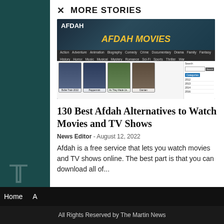MORE STORIES
[Figure (screenshot): Screenshot of Afdah Movies website showing the AFDAH MOVIES logo in yellow text, navigation menu items (Action, Adventure, Animation, Biography, Comedy, Crime, Documentary, Drama, Family, Fantasy, History, Horror, Music, Musical, Mystery, Romance, Sci-Fi, Sports, Thriller, War), and movie thumbnails including Bullet Train 2022, Peppermint, As They Made Us, and Damien, with a search bar and Categories sidebar]
130 Best Afdah Alternatives to Watch Movies and TV Shows
News Editor  -  August 12, 2022
Afdah is a free service that lets you watch movies and TV shows online. The best part is that you can download all of...
All Rights Reserved by The Martin News